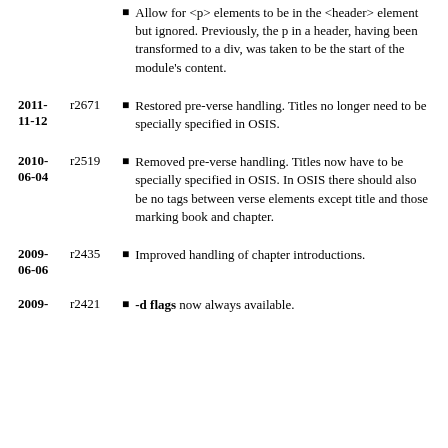Allow for <p> elements to be in the <header> element but ignored. Previously, the p in a header, having been transformed to a div, was taken to be the start of the module's content.
Restored pre-verse handling. Titles no longer need to be specially specified in OSIS.
Removed pre-verse handling. Titles now have to be specially specified in OSIS. In OSIS there should also be no tags between verse elements except title and those marking book and chapter.
Improved handling of chapter introductions.
-d flags now always available.